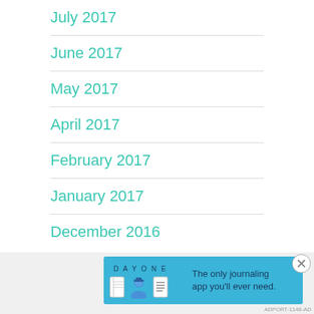July 2017
June 2017
May 2017
April 2017
February 2017
January 2017
December 2016
[Figure (other): Advertisement banner for Day One journaling app: 'The only journaling app you'll ever need.' with icons and a close button.]